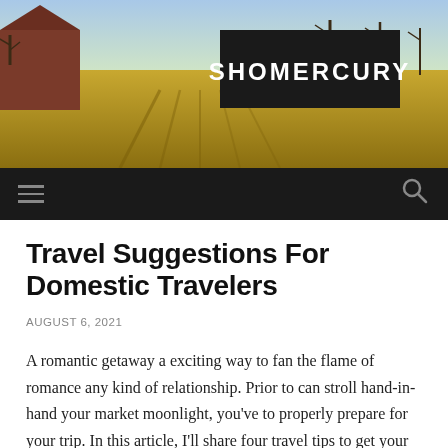[Figure (photo): Outdoor landscape photo showing a red barn structure on the left, bare trees in the background, and a golden sunlit field. A large black banner overlay in the center reads SHOMERCURY in white bold text.]
SHOMERCURY
Travel Suggestions For Domestic Travelers
AUGUST 6, 2021
A romantic getaway a exciting way to fan the flame of romance any kind of relationship. Prior to can stroll hand-in-hand your market moonlight, you've to properly prepare for your trip. In this article, I'll share four travel tips to get your trip started regarding the